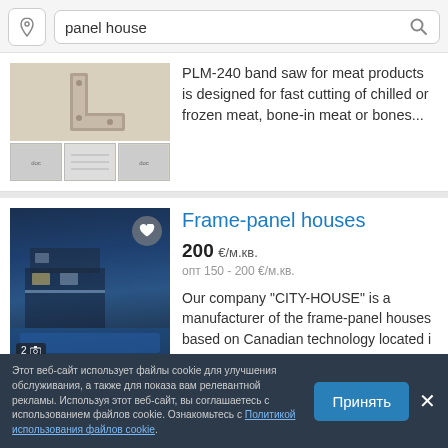[Figure (screenshot): Search bar with location icon, text 'panel house', and search magnifier icon]
[Figure (photo): Product listing image for PLM-240 band saw showing metal bracket and technical drawings]
PLM-240 band saw for meat products is designed for fast cutting of chilled or frozen meat, bone-in meat or bones...
[Figure (photo): Modern two-story frame-panel house at night with pool, showing 2 photos badge and heart favorite button]
Frame-panel houses
200 €/м.кв.
опт 150 - 200 €/м.кв.
Our company "CITY-HOUSE" is a manufacturer of the frame-panel houses based on Canadian technology located i
Этот веб-сайт использует файлы cookie для улучшения обслуживания, а также для показа вам релевантной рекламы. Используя этот веб-сайт, вы соглашаетесь с использованием файлов cookie. Ознакомьтесь с Политикой использования файлов cookie.